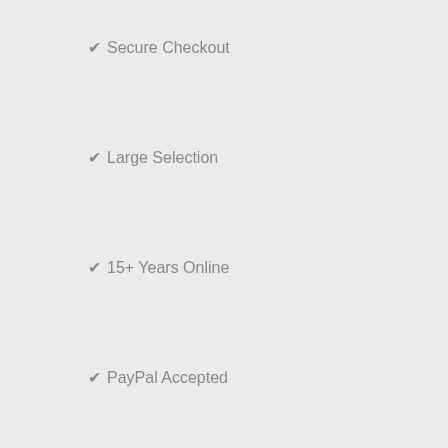✔ Secure Checkout
✔ Large Selection
✔ 15+ Years Online
✔ PayPal Accepted
Quick Links
Search
FAQ
Contact Us
About Us